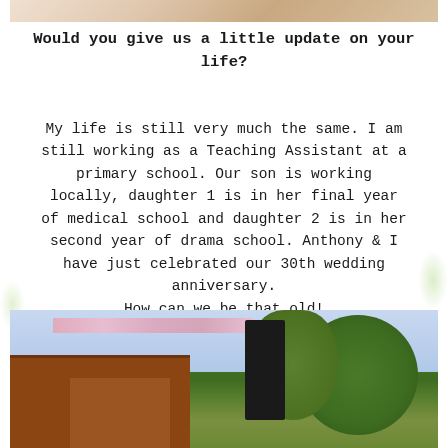[Figure (photo): Partial photo at top of page showing hands or skin tones, cropped]
Would you give us a little update on your life?
My life is still very much the same. I am still working as a Teaching Assistant at a primary school. Our son is working locally, daughter 1 is in her final year of medical school and daughter 2 is in her second year of drama school. Anthony & I have just celebrated our 30th wedding anniversary.
How can we be that old!
[Figure (photo): Outdoor photo showing a brick building, trees, and pink bunting or decorations hanging]